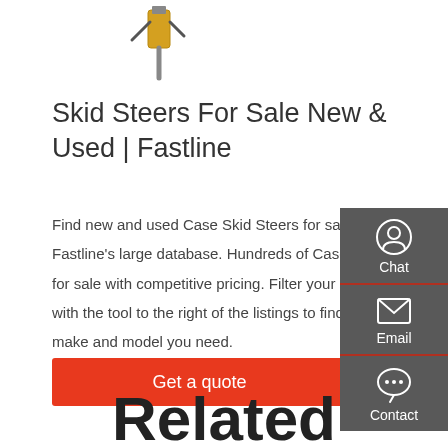[Figure (illustration): Top portion showing construction equipment: a hydraulic hammer/breaker on left and a tracked undercarriage/crawler on right against white background]
Skid Steers For Sale New & Used | Fastline
Find new and used Case Skid Steers for sale in Fastline's large database. Hundreds of Case Skid Steers for sale with competitive pricing. Filter your search results with the tool to the right of the listings to find the exact make and model you need.
Get a quote
[Figure (screenshot): Dark grey side panel with Chat (headset icon), Email (envelope icon), and Contact (speech bubble icon) options]
Related